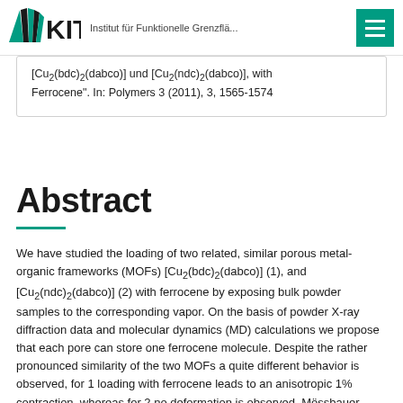KIT — Institut für Funktionelle Grenzflä...
[Cu₂(bdc)₂(dabco)] und [Cu₂(ndc)₂(dabco)], with Ferrocene". In: Polymers 3 (2011), 3, 1565-1574
Abstract
We have studied the loading of two related, similar porous metal-organic frameworks (MOFs) [Cu₂(bdc)₂(dabco)] (1), and [Cu₂(ndc)₂(dabco)] (2) with ferrocene by exposing bulk powder samples to the corresponding vapor. On the basis of powder X-ray diffraction data and molecular dynamics (MD) calculations we propose that each pore can store one ferrocene molecule. Despite the rather pronounced similarity of the two MOFs a quite different behavior is observed, for 1 loading with ferrocene leads to an anisotropic 1% contraction, whereas for 2 no deformation is observed. Mössbauer spectroscopy studies reveal that the Fe oxidation level remains unchanged during the process. Time